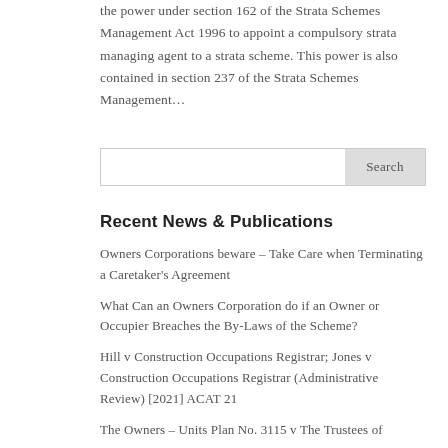the power under section 162 of the Strata Schemes Management Act 1996 to appoint a compulsory strata managing agent to a strata scheme. This power is also contained in section 237 of the Strata Schemes Management…
Search
Recent News & Publications
Owners Corporations beware – Take Care when Terminating a Caretaker's Agreement
What Can an Owners Corporation do if an Owner or Occupier Breaches the By-Laws of the Scheme?
Hill v Construction Occupations Registrar; Jones v Construction Occupations Registrar (Administrative Review) [2021] ACAT 21
The Owners – Units Plan No. 3115 v The Trustees of